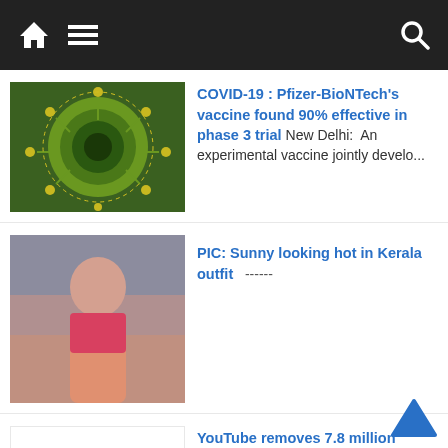Navigation bar with home, menu, and search icons
[Figure (photo): Green and yellow COVID-19 coronavirus particle illustration]
COVID-19 : Pfizer-BioNTech's vaccine found 90% effective in phase 3 trial New Delhi:  An experimental vaccine jointly develo...
[Figure (photo): Woman in pink outfit posing, Sunny Leone]
PIC: Sunny looking hot in Kerala outfit   ------
[Figure (logo): Biz Samachar logo with red arrow chart graphic]
YouTube removes 7.8 million videos New Delhi: Video-sharing giant YouTube has removed...
[Figure (photo): Kim Kardashian photo in outdoor setting]
Pics:Kim Kardashian to divorce Kanye West